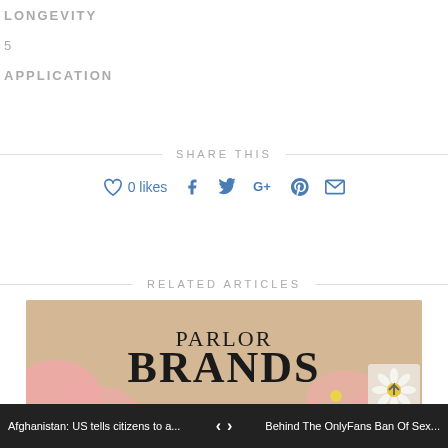LONGEVITY
5
APPLICATION
SHARE THIS
0 likes
RELATED ARTICLES
[Figure (illustration): Parlor Brands promotional image with large bold serif text on tan/beige background with pink floral decorations and daisy elements]
Afghanistan: US tells citizens to a...   Behind The OnlyFans Ban Of Sex...